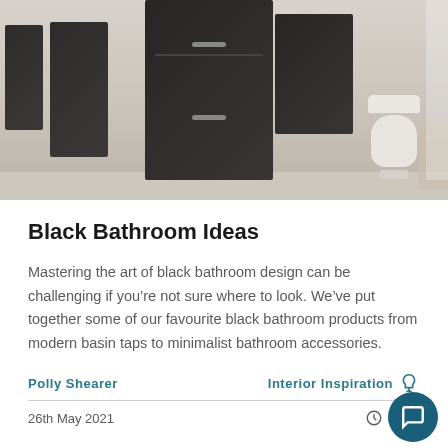[Figure (photo): A modern bathroom featuring dark charcoal/black wood-grain furniture including tall chest and smaller cabinets, a white toilet, wooden chair, and a light-colored floor and walls.]
Black Bathroom Ideas
Mastering the art of black bathroom design can be challenging if you're not sure where to look. We've put together some of our favourite black bathroom products from modern basin taps to minimalist bathroom accessories.
Polly Shearer
Interior Inspiration
26th May 2021
4 Min